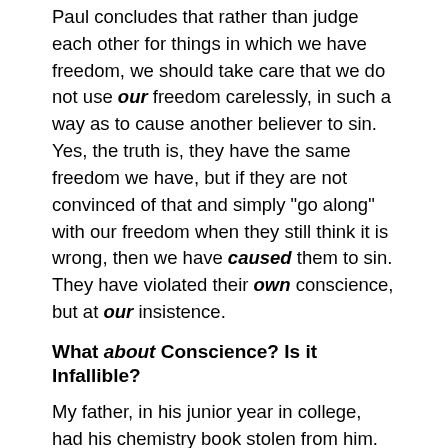Paul concludes that rather than judge each other for things in which we have freedom, we should take care that we do not use our freedom carelessly, in such a way as to cause another believer to sin. Yes, the truth is, they have the same freedom we have, but if they are not convinced of that and simply "go along" with our freedom when they still think it is wrong, then we have caused them to sin. They have violated their own conscience, but at our insistence.
What about Conscience? Is it Infallible?
My father, in his junior year in college, had his chemistry book stolen from him. He had left it on the porch, outside the cafeteria, and someone took it during lunch. He hadn't any extra money, so, for the rest of the term, he was forced to borrow other students' textbooks, in order to complete his homework. They kept urging him to "just steal someone else's book"; but he knew it was wrong